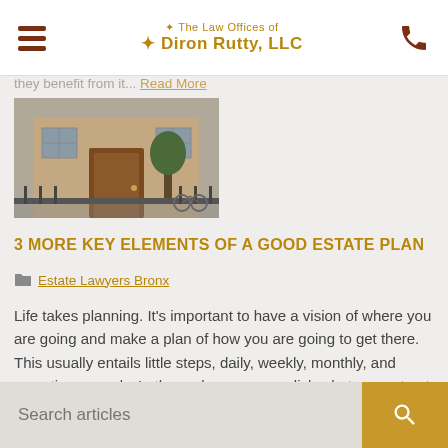The Law Offices of Diron Rutty, LLC
they benefit from it... Read More
[Figure (photo): Exterior photo of a brownstone/row house with a wooden front door, iron fence, and bicycle in front.]
3 MORE KEY ELEMENTS OF A GOOD ESTATE PLAN
Estate Lawyers Bronx
Life takes planning. It's important to have a vision of where you are going and make a plan of how you are going to get there. This usually entails little steps, daily, weekly, monthly, and sometimes yearly. In the end, you accomplish what you set out to do. This is how success happens in life —... Read More
1 2 3 4 →
Search articles